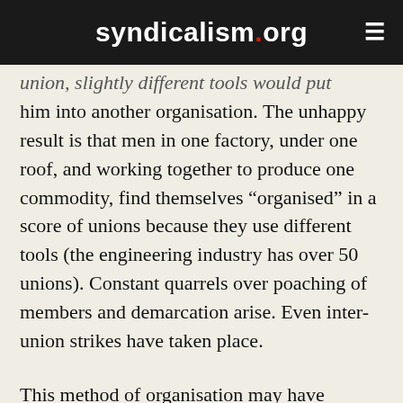syndicalism.org
union, slightly different tools would put him into another organisation. The unhappy result is that men in one factory, under one roof, and working together to produce one commodity, find themselves “organised” in a score of unions because they use different tools (the engineering industry has over 50 unions). Constant quarrels over poaching of members and demarcation arise. Even inter-union strikes have taken place.
This method of organisation may have